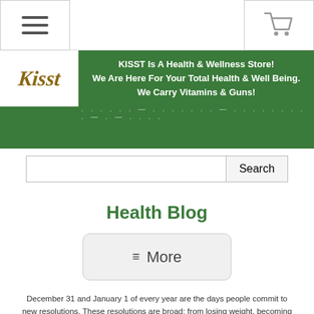[Figure (screenshot): Hamburger menu button (three horizontal lines) on the top left navigation bar]
[Figure (screenshot): Shopping cart icon on the top right navigation bar]
[Figure (logo): KISST store logo in cursive italic text with gold/brown color on white background]
KISST Is A Health & Wellness Store! We Are Here For Your Total Health & Well Being. We Carry Vitamins & Guns!
Health Blog
≡ More
December 31 and January 1 of every year are the days people commit to new resolutions.  These resolutions are broad;  from losing weight, becoming a better person to giving more to the community, etc.  These resolutions abound, generally to be tossed out and forgotten in just a couple of weeks.